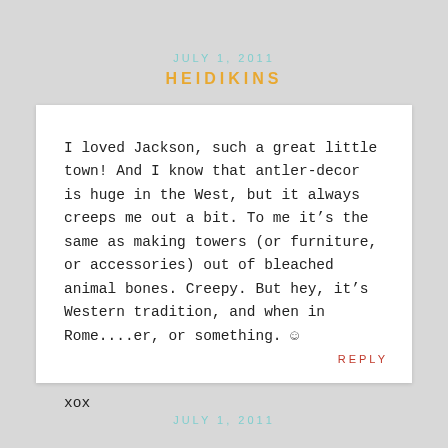JULY 1, 2011
HEIDIKINS
I loved Jackson, such a great little town! And I know that antler-decor is huge in the West, but it always creeps me out a bit. To me it’s the same as making towers (or furniture, or accessories) out of bleached animal bones. Creepy. But hey, it’s Western tradition, and when in Rome....er, or something. ☺
xox
REPLY
JULY 1, 2011